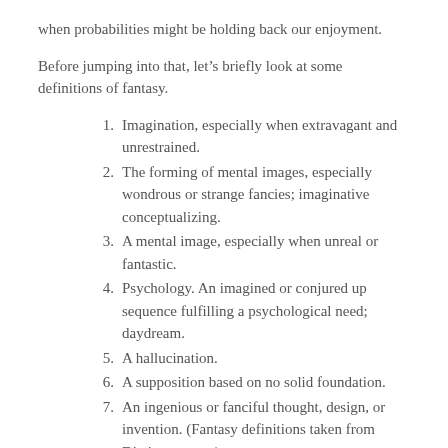when probabilities might be holding back our enjoyment.
Before jumping into that, let’s briefly look at some definitions of fantasy.
Imagination, especially when extravagant and unrestrained.
The forming of mental images, especially wondrous or strange fancies; imaginative conceptualizing.
A mental image, especially when unreal or fantastic.
Psychology. An imagined or conjured up sequence fulfilling a psychological need; daydream.
A hallucination.
A supposition based on no solid foundation.
An ingenious or fanciful thought, design, or invention. (Fantasy definitions taken from Dictionary.com).
As you can see, there is a broad range of definitions to cover a balance of what is in a person’s imagination or in the outside world. I would like to expand on item four by looking at two